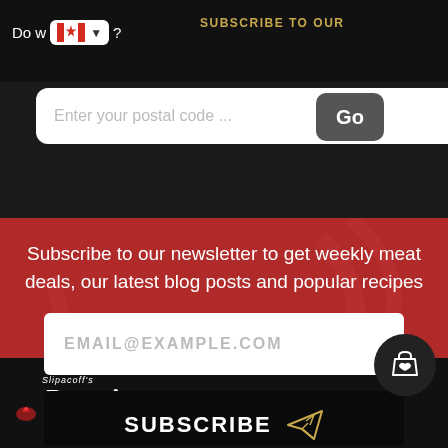Do we deliver? (partial, with Canadian flag dropdown)
SUBSCRIBE TO OUR
Enter your postal code ...
Subscribe to our newsletter to get weekly meat deals, our latest blog posts and popular recipes
EMAIL@EXAMPLE.COM
SUBSCRIBE
[Figure (logo): Slipacoff's Premium Meats logo in white on black background]
[Figure (illustration): Shopping cart with heart icon button, circular dark button]